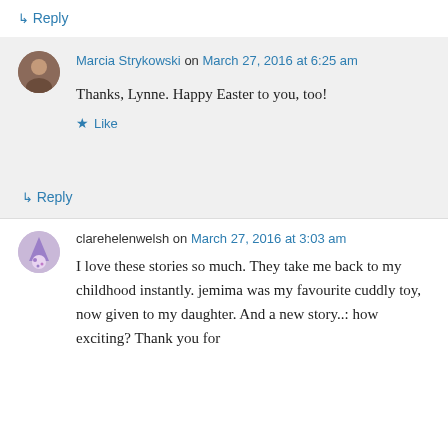↳ Reply
Marcia Strykowski on March 27, 2016 at 6:25 am
Thanks, Lynne. Happy Easter to you, too!
★ Like
↳ Reply
clarehelenwelsh on March 27, 2016 at 3:03 am
I love these stories so much. They take me back to my childhood instantly. jemima was my favourite cuddly toy, now given to my daughter. And a new story..: how exciting? Thank you for